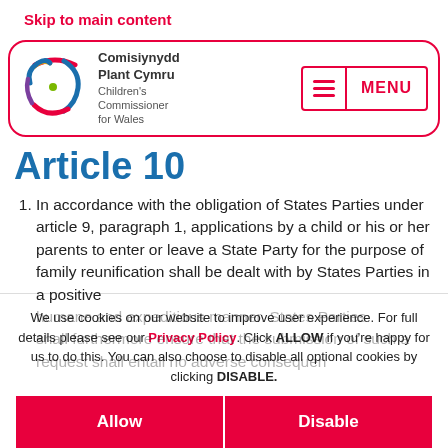Skip to main content
[Figure (logo): Comisiynydd Plant Cymru – Children's Commissioner for Wales logo with navigation menu button]
Article 10
In accordance with the obligation of States Parties under article 9, paragraph 1, applications by a child or his or her parents to enter or leave a State Party for the purpose of family reunification shall be dealt with by States Parties in a positive humane and expeditious manner. States Parties shall furthermore ensure that the submission of such a request shall entail no adverse consequences
We use cookies on our website to improve user experience. For full details please see our Privacy Policy. Click ALLOW if you're happy for us to do this. You can also choose to disable all optional cookies by clicking DISABLE.